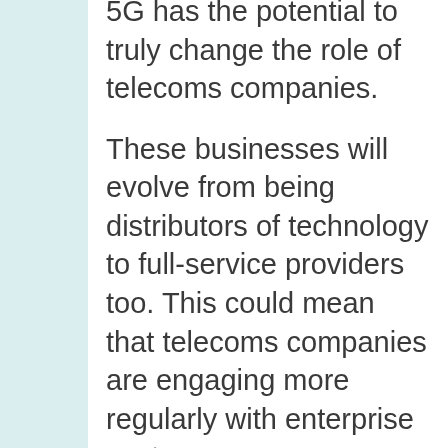5G has the potential to truly change the role of telecoms companies.
These businesses will evolve from being distributors of technology to full-service providers too. This could mean that telecoms companies are engaging more regularly with enterprise customers, governments, and other groups.
It may also mean working with other technology companies to build more effective communication apps in the 5G landscape.
While 5G may just be in the build phase for now, as people come to